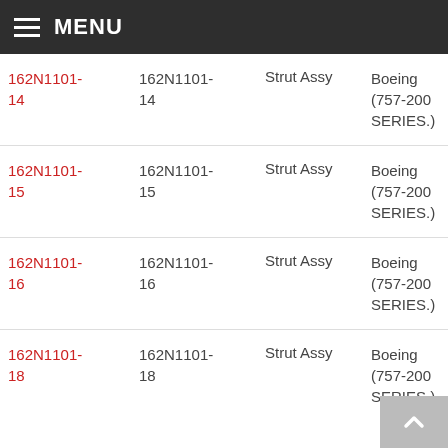MENU
| Part Number | Part Number | Description | Application | Action |
| --- | --- | --- | --- | --- |
| 162N1101-14 | 162N1101-14 | Strut Assy | Boeing (757-200 SERIES.) | Request Fo |
| 162N1101-15 | 162N1101-15 | Strut Assy | Boeing (757-200 SERIES.) | Request Fo |
| 162N1101-16 | 162N1101-16 | Strut Assy | Boeing (757-200 SERIES.) | Request Fo |
| 162N1101-18 | 162N1101-18 | Strut Assy | Boeing (757-200 SERIES.) | Request Fo |
| 162N1101- | 162N1101- |  | Boeing |  |